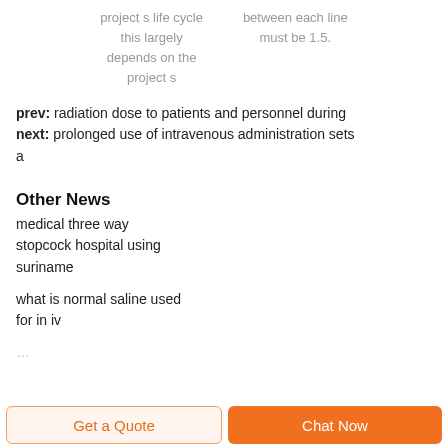project s life cycle   between each line
this largely             must be 1.5.
depends on the
project s
prev: radiation dose to patients and personnel during
next: prolonged use of intravenous administration sets
a
Other News
medical three way stopcock hospital using suriname
what is normal saline used for in iv
…